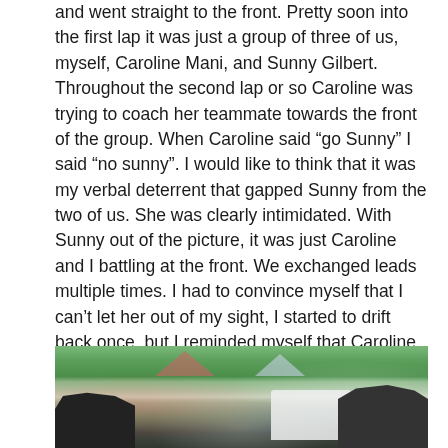and went straight to the front. Pretty soon into the first lap it was just a group of three of us, myself, Caroline Mani, and Sunny Gilbert. Throughout the second lap or so Caroline was trying to coach her teammate towards the front of the group. When Caroline said “go Sunny” I said “no sunny”. I would like to think that it was my verbal deterrent that gapped Sunny from the two of us. She was clearly intimidated. With Sunny out of the picture, it was just Caroline and I battling at the front. We exchanged leads multiple times. I had to convince myself that I can’t let her out of my sight, I started to drift back once, but I reminded myself that Caroline doesn’t fade, Caroline doesn’t crash. If I wanted to stay in the race, I would need to keep myself in it. After getting dropped off a little bit, I rallied and chased back on.
[Figure (photo): Outdoor race or event scene showing vehicles and tents/canopies, with green grass and trees visible in the background. Appears to be a cyclocross or similar outdoor sporting event.]